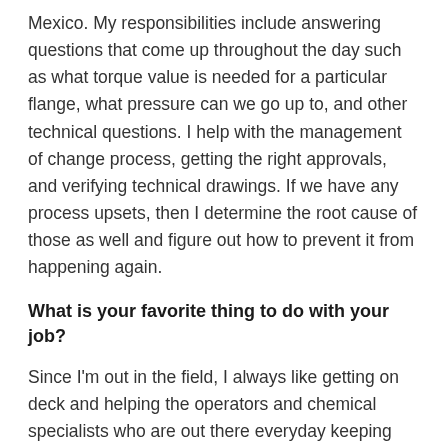Mexico. My responsibilities include answering questions that come up throughout the day such as what torque value is needed for a particular flange, what pressure can we go up to, and other technical questions. I help with the management of change process, getting the right approvals, and verifying technical drawings. If we have any process upsets, then I determine the root cause of those as well and figure out how to prevent it from happening again.
What is your favorite thing to do with your job?
Since I'm out in the field, I always like getting on deck and helping the operators and chemical specialists who are out there everyday keeping operations moving forward. I enjoyed getting inside some of our process vessels during turnarounds and helping rebuild valves. I like the opportunitie...